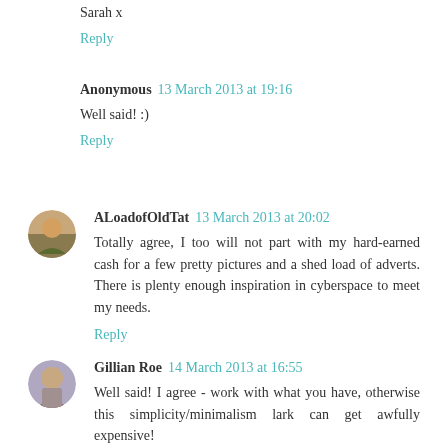Sarah x
Reply
Anonymous  13 March 2013 at 19:16
Well said! :)
Reply
ALoadofOldTat  13 March 2013 at 20:02
Totally agree, I too will not part with my hard-earned cash for a few pretty pictures and a shed load of adverts. There is plenty enough inspiration in cyberspace to meet my needs.
Reply
Gillian Roe  14 March 2013 at 16:55
Well said! I agree - work with what you have, otherwise this simplicity/minimalism lark can get awfully expensive!